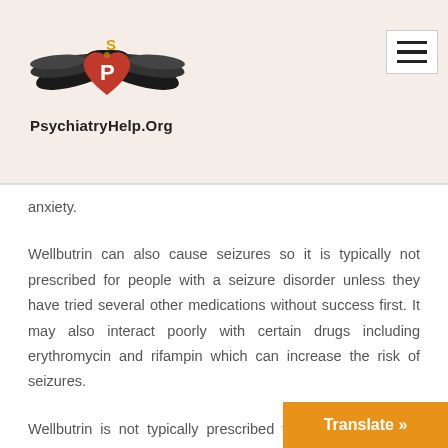PsychiatryHelp.Org
anxiety.
Wellbutrin can also cause seizures so it is typically not prescribed for people with a seizure disorder unless they have tried several other medications without success first. It may also interact poorly with certain drugs including erythromycin and rifampin which can increase the risk of seizures.
Wellbutrin is not typically prescribed for people under 18 because it increases their risk for suicidal thoughts and behaviors, but this m resort option if other medications